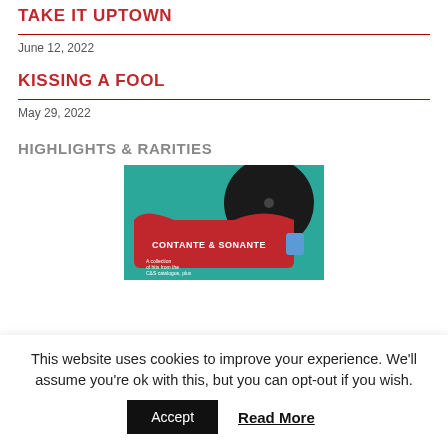TAKE IT UPTOWN
June 12, 2022
KISSING A FOOL
May 29, 2022
HIGHLIGHTS & RARITIES
[Figure (photo): A red record/vinyl holder with text 'CONTANTE & SONANTE' against a teal/green background, with a partially visible vinyl record and some small text reading 'A collection of hits from the C&S catalogue, plus']
This website uses cookies to improve your experience. We'll assume you're ok with this, but you can opt-out if you wish.
Accept  Read More